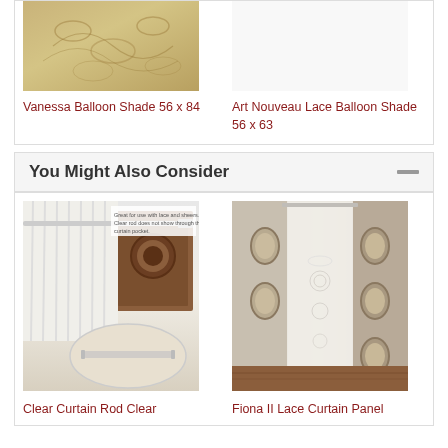[Figure (photo): Vanessa Balloon Shade fabric with floral scroll pattern in beige/gold tones]
Vanessa Balloon Shade 56 x 84
[Figure (photo): Art Nouveau Lace Balloon Shade - placeholder/empty area]
Art Nouveau Lace Balloon Shade 56 x 63
You Might Also Consider
[Figure (photo): Clear Curtain Rod product image showing white curtain on rod with closeup of rod detail]
Clear Curtain Rod Clear
[Figure (photo): Fiona II Lace Curtain Panel showing white lace panel in room setting with oval frames on wall]
Fiona II Lace Curtain Panel